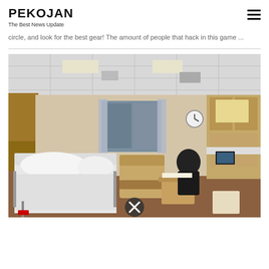PEKOJAN
The Best News Update
circle, and look for the best gear! The amount of people that hack in this game ...
[Figure (photo): Interior of a hospital room with a hospital bed with white pillows and sheets on the left, a recliner chair in the middle, wooden cabinets on the right, a window with curtains in the background, and medical equipment on a desk. A close button (X) icon is visible at the bottom center.]